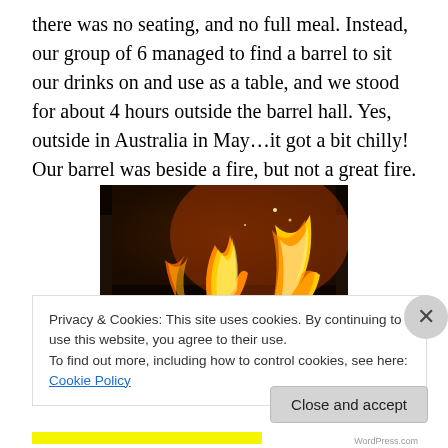there was no seating, and no full meal. Instead, our group of 6 managed to find a barrel to sit our drinks on and use as a table, and we stood for about 4 hours outside the barrel hall. Yes, outside in Australia in May…it got a bit chilly! Our barrel was beside a fire, but not a great fire.
[Figure (photo): A fire burning in a metal container/barrel, photographed at night with warm orange and yellow flames visible against a dark background.]
Privacy & Cookies: This site uses cookies. By continuing to use this website, you agree to their use.
To find out more, including how to control cookies, see here: Cookie Policy